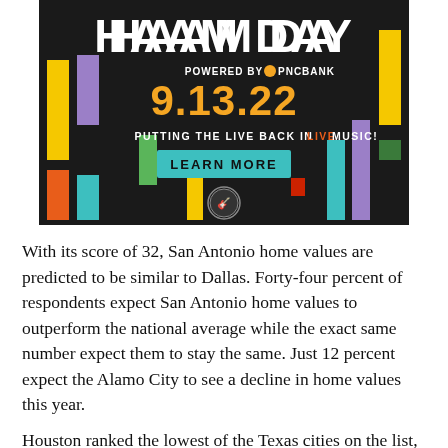[Figure (illustration): HAAM Day advertisement banner: dark background with colorful vertical rectangles in yellow, teal, orange, purple, green, red. Text reads 'HAAM DAY', 'POWERED BY PNC BANK', '9.13.22', 'PUTTING THE LIVE BACK IN LIVE MUSIC!', 'LEARN MORE' button in teal, and a circular guitar logo at the bottom.]
With its score of 32, San Antonio home values are predicted to be similar to Dallas. Forty-four percent of respondents expect San Antonio home values to outperform the national average while the exact same number expect them to stay the same. Just 12 percent expect the Alamo City to see a decline in home values this year.
Houston ranked the lowest of the Texas cities on the list,